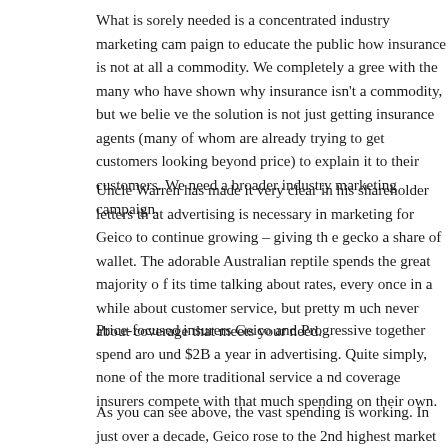What is sorely needed is a concentrated industry marketing campaign to educate the public how insurance is not at all a commodity. We completely agree with the many who have shown why insurance isn't a commodity, but we believe the solution is not just getting insurance agents (many of whom are already trying to get customers looking beyond price) to explain it to their customers. We need a broader industry marketing campaign.
Uncle Warren has made it very clear in his shareholder letters that advertising is necessary in marketing for Geico to continue growing – giving the gecko a share of wallet. The adorable Australian reptile spends the great majority of its time talking rates, every once in a while about customer service, but pretty much never about coverage that meets your need.
Price-focused insurers Geico and Progressive together spend around $2B a year in advertising. Quite simply, none of the more traditional service and coverage insurers compete with that much spending on their own.
As you can see above, the vast spending is working. In just over a decade, Geico rose to the 2nd highest market share from being only the 6th in 2001. If